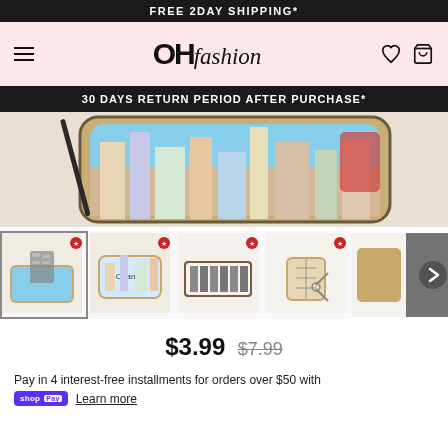FREE 2DAY SHIPPING*
[Figure (logo): OH fashion logo with hamburger menu and icons on pink background]
30 DAYS RETURN PERIOD AFTER PURCHASE*
[Figure (photo): Manicure set product image with colorful travel-themed case]
[Figure (photo): Product thumbnail gallery showing 5 views of manicure sets]
$3.99 $7.99
Pay in 4 interest-free installments for orders over $50 with shop Pay Learn more